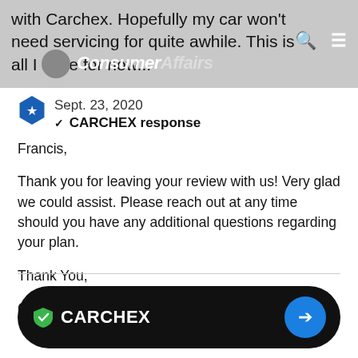with Carchex. Hopefully my car won't need servicing for quite awhile. This is all I have for now...
Sept. 23, 2020
✓ CARCHEX response

Francis,

Thank you for leaving your review with us! Very glad we could assist. Please reach out at any time should you have any additional questions regarding your plan.

Thank You,

CARCHEX Customer Service